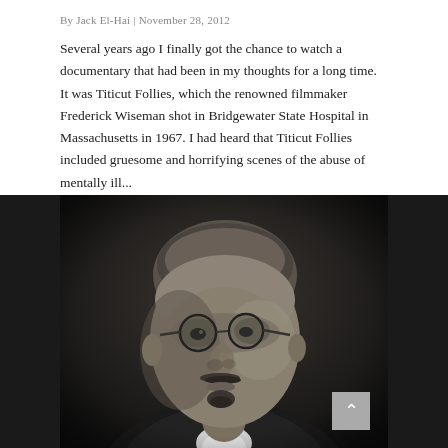By Jack El-Hai | November 28, 2012
Several years ago I finally got the chance to watch a documentary that had been in my thoughts for a long time. It was Titicut Follies, which the renowned filmmaker Frederick Wiseman shot in Bridgewater State Hospital in Massachusetts in 1967. I had heard that Titicut Follies included gruesome and horrifying scenes of the abuse of mentally ill...
[Figure (photo): Black and white portrait photograph of a man wearing round wire-rimmed glasses, with a mustache and goatee, wearing a suit with a white collar. Close-up face shot.]